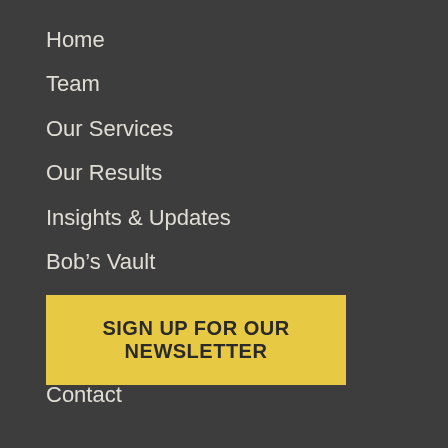Home
Team
Our Services
Our Results
Insights & Updates
Bob's Vault
Alan's Thoughts
Video + Podcast Series
Contact
SIGN UP FOR OUR NEWSLETTER